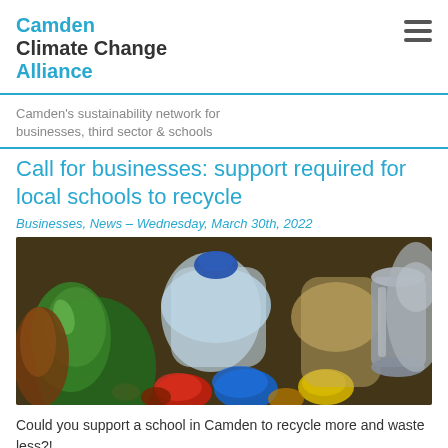Camden Climate Change Alliance
Camden's sustainability network for businesses, third sector & schools
Call for businesses: support required for local schools to recycle
Businesses, News – Wednesday, March 30th, 2022
[Figure (photo): Close-up photo of mixed recyclable materials including green and clear glass bottles, plastic bottles with colourful caps (red, blue, yellow), and metal tins/cans.]
Could you support a school in Camden to recycle more and waste less?!
Working as part of the Schools Climate Charter, we offer it to schools that...